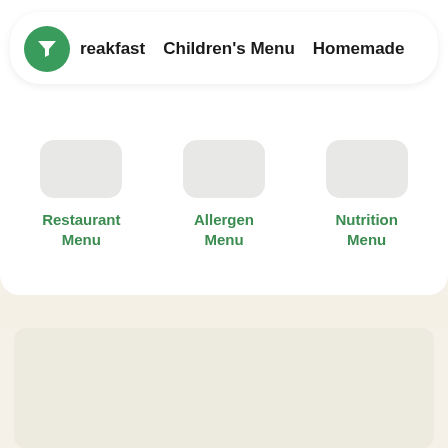[Figure (screenshot): App navigation bar with green filter funnel icon and menu tabs: reakfast (partially visible), Children's Menu, Homemade (partially visible)]
Restaurant Menu
Allergen Menu
Nutrition Menu